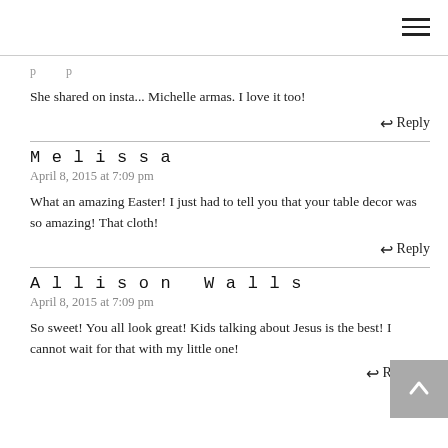≡ (hamburger menu)
She shared on insta... Michelle armas. I love it too!
↩ Reply
Melissa
April 8, 2015 at 7:09 pm
What an amazing Easter! I just had to tell you that your table decor was so amazing! That cloth!
↩ Reply
Allison Walls
April 8, 2015 at 7:09 pm
So sweet! You all look great! Kids talking about Jesus is the best! I cannot wait for that with my little one!
↩ Reply